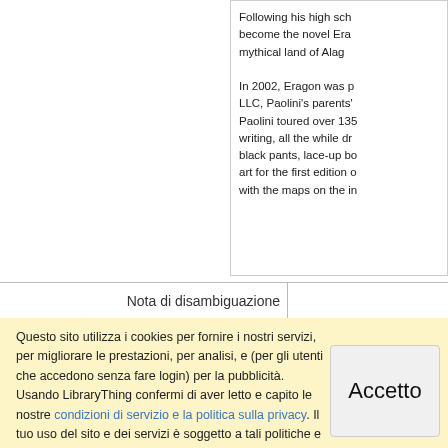Following his high school graduation, he began to work on what would become the novel Eragon, a fantasy set in the mythical land of Alagaë...

In 2002, Eragon was published by Paolini International LLC, Paolini's parents' publishing company. Paolini toured over 135 schools and libraries, promoting his writing, all the while dressing in a medieval costume of black pants, lace-up boots... art for the first edition of Eragon, ... with the maps on the in...
Nota di disambiguazione
Questo sito utilizza i cookies per fornire i nostri servizi, per migliorare le prestazioni, per analisi, e (per gli utenti che accedono senza fare login) per la pubblicità. Usando LibraryThing confermi di aver letto e capito le nostre condizioni di servizio e la politica sulla privacy. Il tuo uso del sito e dei servizi è soggetto a tali politiche e condizioni.
Accetto